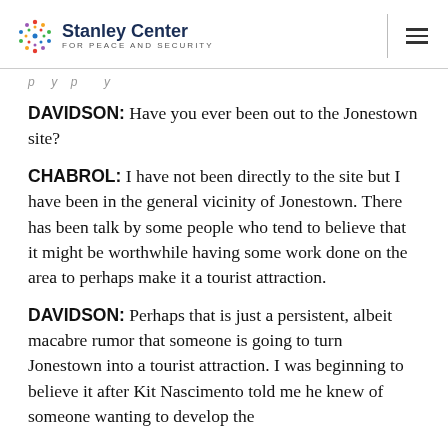Stanley Center FOR PEACE AND SECURITY
p ... y p ... y
DAVIDSON: Have you ever been out to the Jonestown site?
CHABROL: I have not been directly to the site but I have been in the general vicinity of Jonestown. There has been talk by some people who tend to believe that it might be worthwhile having some work done on the area to perhaps make it a tourist attraction.
DAVIDSON: Perhaps that is just a persistent, albeit macabre rumor that someone is going to turn Jonestown into a tourist attraction. I was beginning to believe it after Kit Nascimento told me he knew of someone wanting to develop the